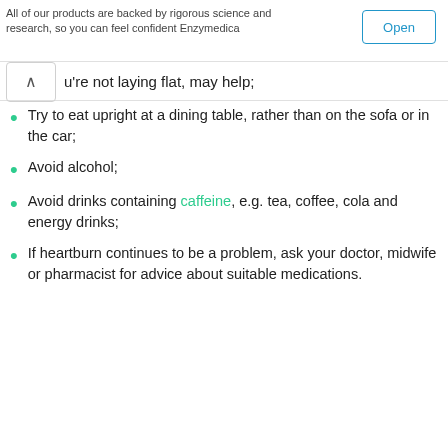All of our products are backed by rigorous science and research, so you can feel confident Enzymedica
u're not laying flat, may help;
Try to eat upright at a dining table, rather than on the sofa or in the car;
Avoid alcohol;
Avoid drinks containing caffeine, e.g. tea, coffee, cola and energy drinks;
If heartburn continues to be a problem, ask your doctor, midwife or pharmacist for advice about suitable medications.